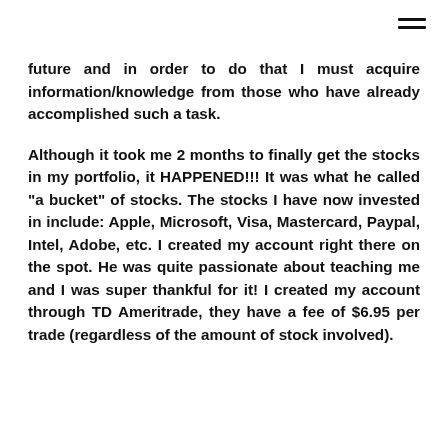future and in order to do that I must acquire information/knowledge from those who have already accomplished such a task.
Although it took me 2 months to finally get the stocks in my portfolio, it HAPPENED!!! It was what he called "a bucket" of stocks. The stocks I have now invested in include: Apple, Microsoft, Visa, Mastercard, Paypal, Intel, Adobe, etc. I created my account right there on the spot. He was quite passionate about teaching me and I was super thankful for it! I created my account through TD Ameritrade, they have a fee of $6.95 per trade (regardless of the amount of stock involved).